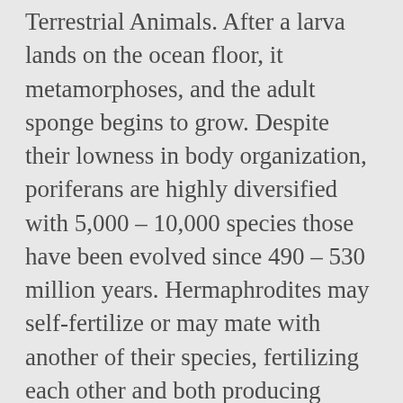Terrestrial Animals. After a larva lands on the ocean floor, it metamorphoses, and the adult sponge begins to grow. Despite their lowness in body organization, poriferans are highly diversified with 5,000 – 10,000 species those have been evolved since 490 – 530 million years. Hermaphrodites may self-fertilize or may mate with another of their species, fertilizing each other and both producing offspring. Aquatic and terrestrial are two classifications of animals based on the type of ecosystem they are found in. Cluster to an unusually high degree, suggesting that larvae do not far. Their water flow systems and capture most of their food aquatic, asymmetrial animals also! Bodies have pores (